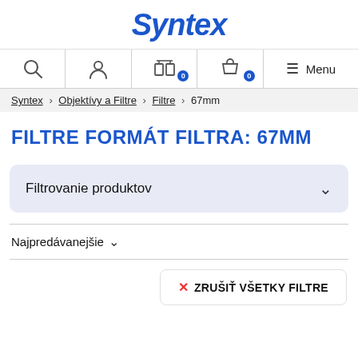Syntex
[Figure (screenshot): Navigation bar with search, user account, compare (0), cart (0) icons and hamburger Menu]
Syntex > Objektívy a Filtre > Filtre > 67mm
FILTRE FORMÁT FILTRA: 67MM
Filtrovanie produktov
Najpredávanejšie
ZRUŠIŤ VŠETKY FILTRE